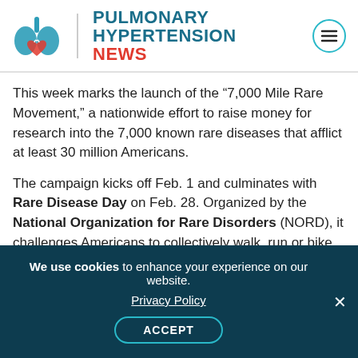[Figure (logo): Pulmonary Hypertension News logo with lung illustration icon, teal and red text, and hamburger menu circle icon]
This week marks the launch of the “7,000 Mile Rare Movement,” a nationwide effort to raise money for research into the 7,000 known rare diseases that afflict at least 30 million Americans.
The campaign kicks off Feb. 1 and culminates with Rare Disease Day on Feb. 28. Organized by the National Organization for Rare Disorders (NORD), it challenges Americans to collectively walk, run or bike 7,000 miles during the shortest month of the year — which works out to a minimum 250 miles daily — collecting per-mile donations along the
We use cookies to enhance your experience on our website. Privacy Policy ACCEPT